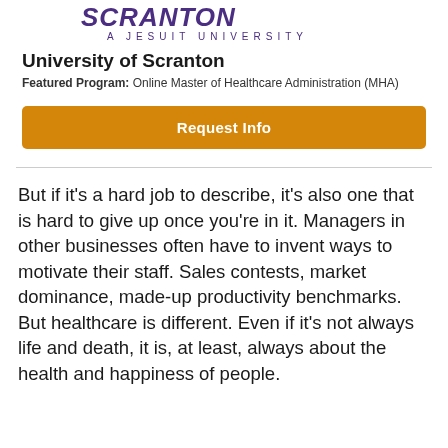[Figure (logo): University of Scranton logo — stylized text mark above 'A JESUIT UNIVERSITY' in spaced caps, purple color]
University of Scranton
Featured Program: Online Master of Healthcare Administration (MHA)
Request Info
But if it's a hard job to describe, it's also one that is hard to give up once you're in it. Managers in other businesses often have to invent ways to motivate their staff. Sales contests, market dominance, made-up productivity benchmarks. But healthcare is different. Even if it's not always life and death, it is, at least, always about the health and happiness of people.